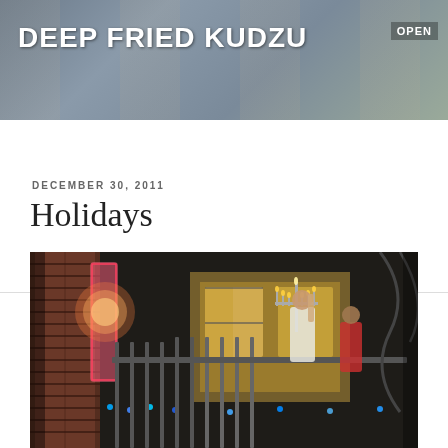DEEP FRIED KUDZU
≡ Menu
DECEMBER 30, 2011
Holidays
[Figure (photo): Outdoor nighttime scene showing people near decorative iron fence and menorah, with colorful holiday lights and brick wall on left side. A person in white shirt appears to be lighting a menorah while another person stands nearby watching.]